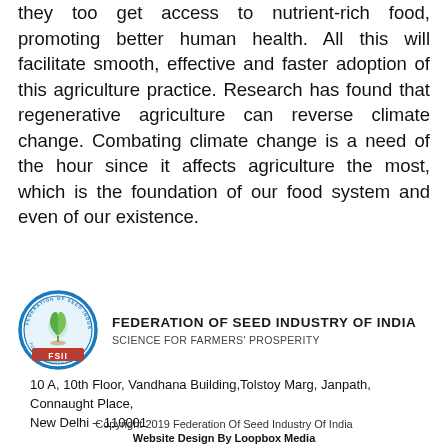they too get access to nutrient-rich food, promoting better human health. All this will facilitate smooth, effective and faster adoption of this agriculture practice. Research has found that regenerative agriculture can reverse climate change. Combating climate change is a need of the hour since it affects agriculture the most, which is the foundation of our food system and even of our existence.
[Figure (logo): FSII circular logo with a green leaf/plant icon in the center, surrounded by a blue circle with text. Below the circle the text 'FSII' appears on a red bar.]
FEDERATION OF SEED INDUSTRY OF INDIA
SCIENCE FOR FARMERS' PROSPERITY
10 A, 10th Floor, Vandhana Building,Tolstoy Marg, Janpath, Connaught Place, New Delhi – 110001
Copyright 2019 Federation Of Seed Industry Of India
Website Design By Loopbox Media